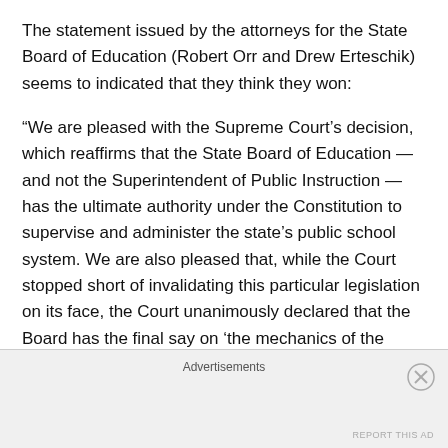The statement issued by the attorneys for the State Board of Education (Robert Orr and Drew Erteschik) seems to indicated that they think they won:
“We are pleased with the Supreme Court’s decision, which reaffirms that the State Board of Education — and not the Superintendent of Public Instruction — has the ultimate authority under the Constitution to supervise and administer the state’s public school system. We are also pleased that, while the Court stopped short of invalidating this particular legislation on its face, the Court unanimously declared that the Board has the final say on ‘the mechanics of the relationship between the Board and
Advertisements